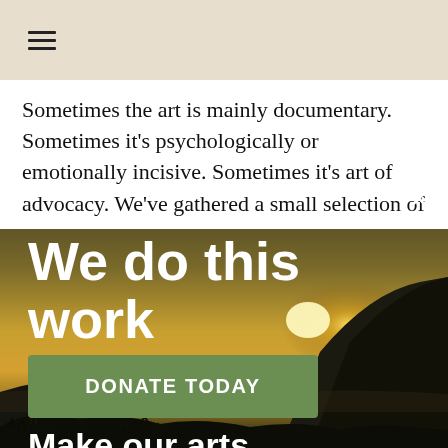≡
Sometimes the art is mainly documentary. Sometimes it's psychologically or emotionally incisive. Sometimes it's art of advocacy. We've gathered a small selection of
[Figure (photo): Sunset landscape with dark silhouetted rocky headlands and coastal vegetation against a golden sky, overlaid with a donation prompt popup]
We do this work for you.
Make our arts journalism possible.
DONATE TODAY